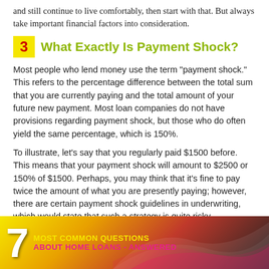and still continue to live comfortably, then start with that. But always take important financial factors into consideration.
3  What Exactly Is Payment Shock?
Most people who lend money use the term "payment shock." This refers to the percentage difference between the total sum that you are currently paying and the total amount of your future new payment. Most loan companies do not have provisions regarding payment shock, but those who do often yield the same percentage, which is 150%.
To illustrate, let's say that you regularly paid $1500 before. This means that your payment shock will amount to $2500 or 150% of $1500. Perhaps, you may think that it's fine to pay twice the amount of what you are presently paying; however, there are certain payment shock guidelines in underwriting, which would state that such a strategy is quite risky.
[Figure (infographic): Banner graphic: '7 Most Common Questions About Home Loans - Answered' with gradient background from yellow to red to dark, large white '7' numeral, yellow and pink text labels.]